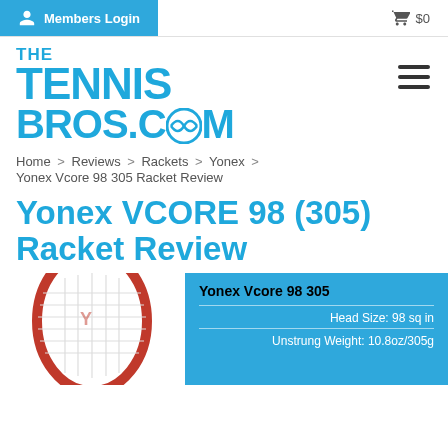Members Login  $0
[Figure (logo): The Tennis Bros.com logo in bold blue text with hamburger menu icon]
Home > Reviews > Rackets > Yonex >
Yonex Vcore 98 305 Racket Review
Yonex VCORE 98 (305) Racket Review
[Figure (photo): Yonex Vcore 98 305 tennis racket with red frame, partial view from bottom]
| Yonex Vcore 98 305 |
| --- |
| Head Size: 98 sq in |
| Unstrung Weight: 10.8oz/305g |